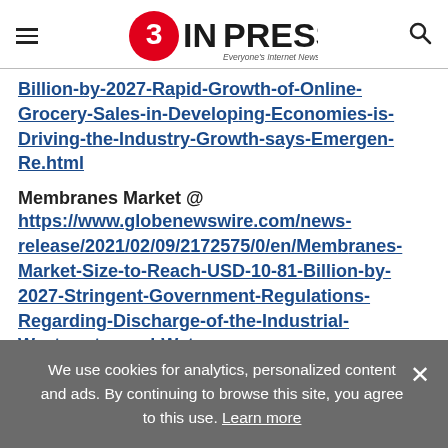EIN PRESSWIRE — Everyone's Internet News Presswire
Billion-by-2027-Rapid-Growth-of-Online-Grocery-Sales-in-Developing-Economies-is-Driving-the-Industry-Growth-says-Emergen-Re.html
Membranes Market @ https://www.globenewswire.com/news-release/2021/02/09/2172575/0/en/Membranes-Market-Size-to-Reach-USD-10-81-Billion-by-2027-Stringent-Government-Regulations-Regarding-Discharge-of-the-Industrial-Wastewater-and-Water-
We use cookies for analytics, personalized content and ads. By continuing to browse this site, you agree to this use. Learn more